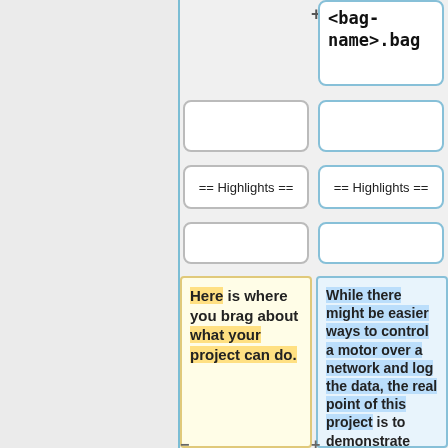<bag-name>.bag
== Highlights ==
== Highlights ==
Here is where you brag about what your project can do.
While there might be easier ways to control a motor over a network and log the data, the real point of this project is to demonstrate that the BeagleBone is capable of implementing all of the powerfull tools